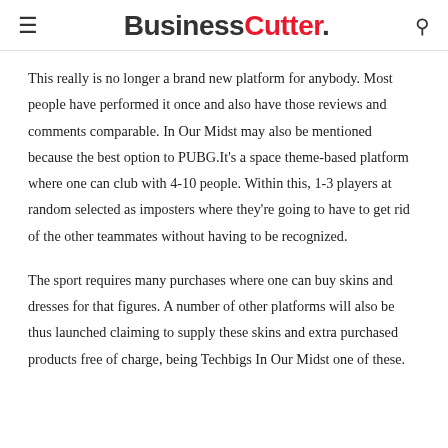BusinessCutter.
This really is no longer a brand new platform for anybody. Most people have performed it once and also have those reviews and comments comparable. In Our Midst may also be mentioned because the best option to PUBG.It's a space theme-based platform where one can club with 4-10 people. Within this, 1-3 players at random selected as imposters where they're going to have to get rid of the other teammates without having to be recognized.
The sport requires many purchases where one can buy skins and dresses for that figures. A number of other platforms will also be thus launched claiming to supply these skins and extra purchased products free of charge, being Techbigs In Our Midst one of these.